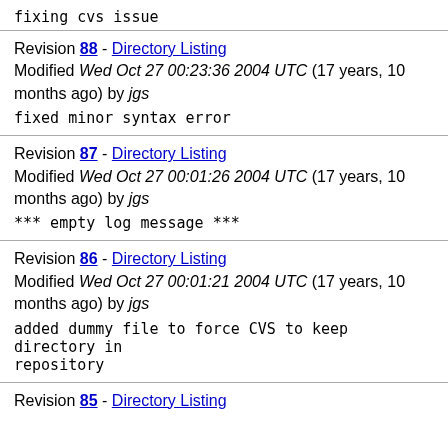fixing cvs issue
Revision 88 - Directory Listing
Modified Wed Oct 27 00:23:36 2004 UTC (17 years, 10 months ago) by jgs
fixed minor syntax error
Revision 87 - Directory Listing
Modified Wed Oct 27 00:01:26 2004 UTC (17 years, 10 months ago) by jgs
*** empty log message ***
Revision 86 - Directory Listing
Modified Wed Oct 27 00:01:21 2004 UTC (17 years, 10 months ago) by jgs
added dummy file to force CVS to keep directory in repository
Revision 85 - Directory Listing